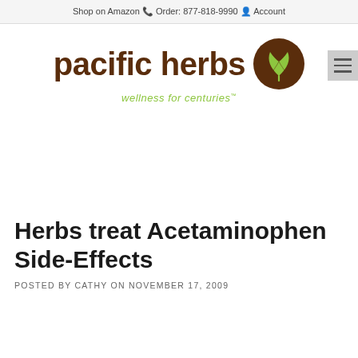Shop on Amazon   Order: 877-818-9990   Account
[Figure (logo): Pacific Herbs logo: brown rounded text 'pacific herbs' with a circular brown badge containing a green leaf, and green italic tagline 'wellness for centuries']
Herbs treat Acetaminophen Side-Effects
POSTED BY CATHY ON NOVEMBER 17, 2009